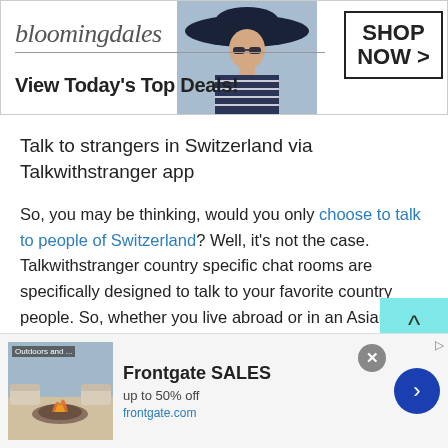[Figure (other): Bloomingdale's advertisement banner: logo on left, woman in hat in center, 'SHOP NOW >' button on right. Text: 'View Today's Top Deals!']
Talk to strangers in Switzerland via Talkwithstranger app
So, you may be thinking, would you only choose to talk to people of Switzerland? Well, it's not the case. Talkwithstranger country specific chat rooms are specifically designed to talk to your favorite country people. So, whether you live abroad or in an Asian country, you have a lot of choices of country-specific chat rooms that you can avail for free. Yes
[Figure (other): Frontgate SALES advertisement: outdoor furniture image on left, text 'Frontgate SALES up to 50% off frontgate.com', close button and next arrow button on right]